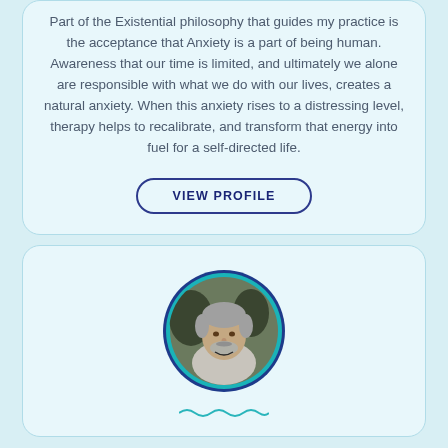Part of the Existential philosophy that guides my practice is the acceptance that Anxiety is a part of being human. Awareness that our time is limited, and ultimately we alone are responsible with what we do with our lives, creates a natural anxiety. When this anxiety rises to a distressing level, therapy helps to recalibrate, and transform that energy into fuel for a self-directed life.
VIEW PROFILE
[Figure (photo): Circular profile photo of an older man with gray hair and beard, wearing a light gray top, set against a dark outdoor background. The circle has a teal/cyan border and a dark navy outer ring.]